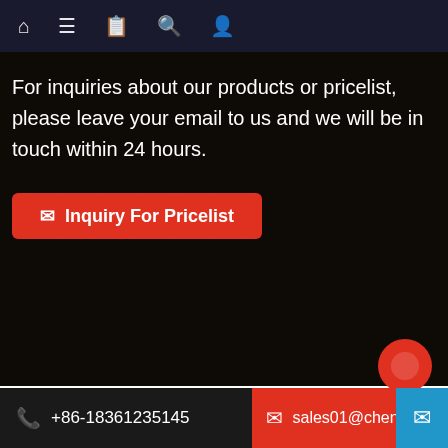Navigation bar with home, menu, catalog, search, and account icons
For inquiries about our products or pricelist, please leave your email to us and we will be in touch within 24 hours.
✉ Inquiry For Pricelist
© Copyright - 2010-2021 : All Rights Reserved. Hot Products, Sitemap,AMP Mobile
Small Peanut Harvester, Self Propelled Seeder, One Row Potato Harvester, Laser Land Leveling Agriculture, Combine Harvester Machine Price, Speedy Seeder,
+86-18361235145    sales01@chenslift.co